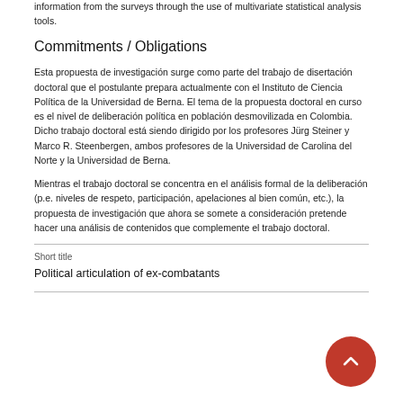information from the surveys through the use of multivariate statistical analysis tools.
Commitments / Obligations
Esta propuesta de investigación surge como parte del trabajo de disertación doctoral que el postulante prepara actualmente con el Instituto de Ciencia Política de la Universidad de Berna. El tema de la propuesta doctoral en curso es el nivel de deliberación política en población desmovilizada en Colombia. Dicho trabajo doctoral está siendo dirigido por los profesores Jürg Steiner y Marco R. Steenbergen, ambos profesores de la Universidad de Carolina del Norte y la Universidad de Berna.
Mientras el trabajo doctoral se concentra en el análisis formal de la deliberación (p.e. niveles de respeto, participación, apelaciones al bien común, etc.), la propuesta de investigación que ahora se somete a consideración pretende hacer una análisis de contenidos que complemente el trabajo doctoral.
Short title
Political articulation of ex-combatants